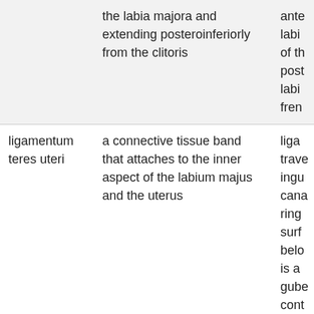|  | the labia majora and extending posteroinferiorly from the clitoris | ante labi of th post labi fren |
| ligamentum teres uteri | a connective tissue band that attaches to the inner aspect of the labium majus and the uterus | liga trave ingu cana ring surf belo is a gube cont |